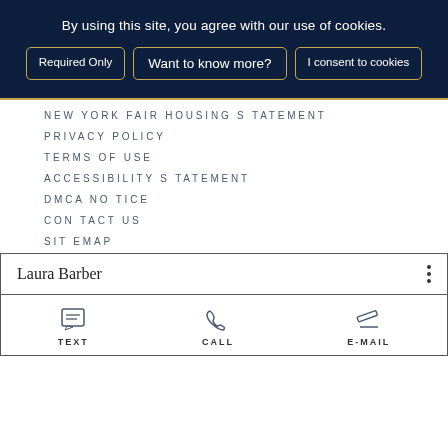By using this site, you agree with our use of cookies.
Required Only | Want to know more? | I consent to cookies
NEW YORK FAIR HOUSING STATEMENT
PRIVACY POLICY
TERMS OF USE
ACCESSIBILITY STATEMENT
DMCA NOTICE
CONTACT US
SITEMAP
Laura Barber
TEXT | CALL | E-MAIL